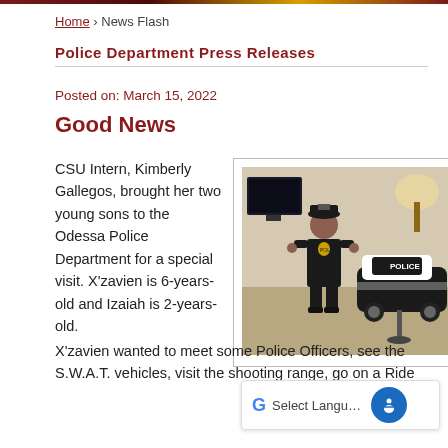Home › News Flash
Police Department Press Releases
Posted on: March 15, 2022
Good News
CSU Intern, Kimberly Gallegos, brought her two young sons to the Odessa Police Department for a special visit. X'zavien is 6-years-old and Izaiah is 2-years-old.
[Figure (photo): A young boy dressed in a police uniform standing next to a toy police car inside an office.]
X'zavien wanted to meet some Police Officers, see the S.W.A.T. vehicles, visit the shooting range, go on a Ride